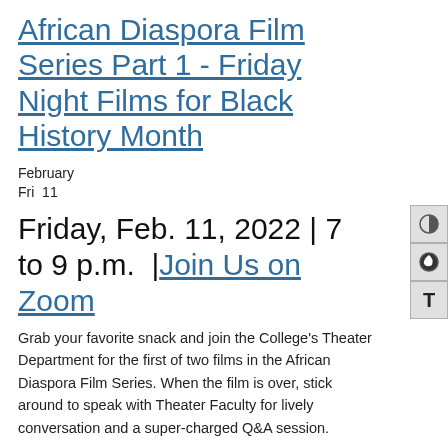African Diaspora Film Series Part 1 - Friday Night Films for Black History Month
February
Fri  11
Friday, Feb. 11, 2022 | 7 to 9 p.m.  | Join Us on Zoom
Grab your favorite snack and join the College's Theater Department for the first of two films in the African Diaspora Film Series. When the film is over, stick around to speak with Theater Faculty for lively conversation and a super-charged Q&A session.